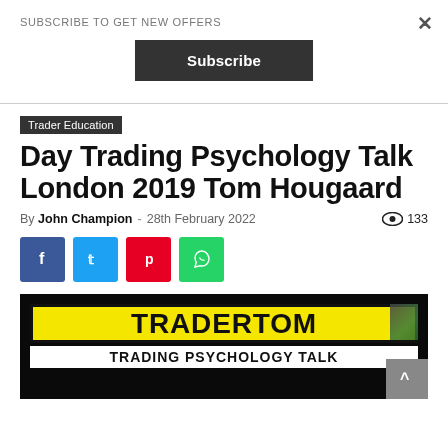SUBSCRIBE TO GET NEW OFFERS
[Figure (other): Subscribe button — dark rectangular button with white bold text 'Subscribe']
Trader Education
Day Trading Psychology Talk London 2019 Tom Hougaard
By John Champion - 28th February 2022   133
[Figure (other): Social share buttons row: Facebook (blue), Twitter (light blue), Pinterest (red), WhatsApp (green)]
[Figure (screenshot): Video thumbnail showing TRADERTOM logo on yellow background and 'TRADING PSYCHOLOGY TALK' text on white, against dark background]